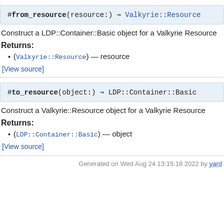#from_resource(resource:) ⇒ Valkyrie::Resource
Construct a LDP::Container::Basic object for a Valkyrie Resource
Returns:
(Valkyrie::Resource) — resource
[View source]
#to_resource(object:) ⇒ LDP::Container::Basic
Construct a Valkyrie::Resource object for a Valkyrie Resource
Returns:
(LDP::Container::Basic) — object
[View source]
Generated on Wed Aug 24 13:15:18 2022 by yard